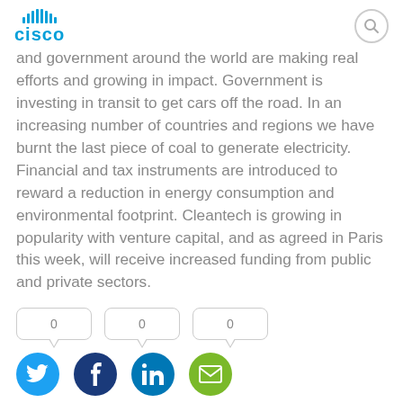Cisco
and government around the world are making real efforts and growing in impact. Government is investing in transit to get cars off the road. In an increasing number of countries and regions we have burnt the last piece of coal to generate electricity. Financial and tax instruments are introduced to reward a reduction in energy consumption and environmental footprint. Cleantech is growing in popularity with venture capital, and as agreed in Paris this week, will receive increased funding from public and private sectors.
What I still wonder, however, is if we are taking enough advantage of the digital world that we've created to tackle some of the simplest challenges with greatest impact solutions. Is the digitization of countries, cities, and industries, and the Internet of Everything, sufficiently